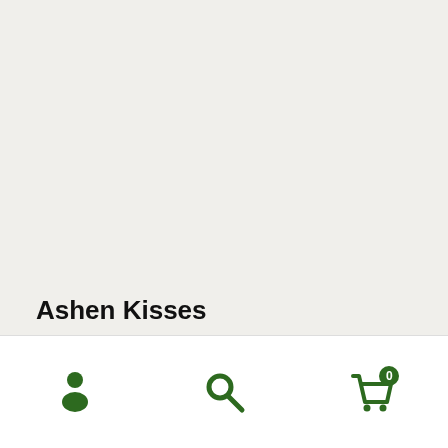Ashen Kisses
CR 4
XP 1200
CE haunt (20 ft. radius)
Caster Level 4th
[Figure (infographic): Bottom navigation bar with three icons: a person/user icon, a search magnifying glass icon, and a shopping cart icon with a badge showing 0. All icons are dark green.]